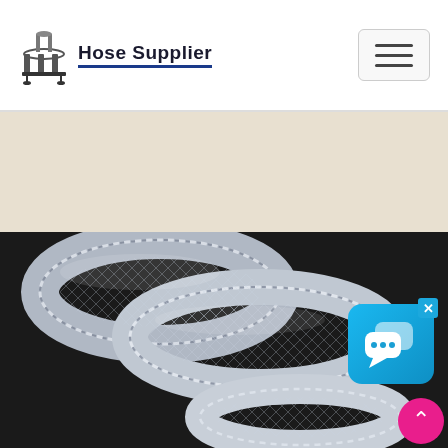Hose Supplier
[Figure (photo): Close-up photograph of clear PVC braided hoses coiled on a dark background, showing the diamond-pattern fiber reinforcement mesh embedded in transparent tubing]
[Figure (screenshot): Live chat widget button with speech bubble icons on a blue rounded square background, with an X close button in the top right corner]
[Figure (other): Pink circular scroll-to-top button with upward chevron arrow]